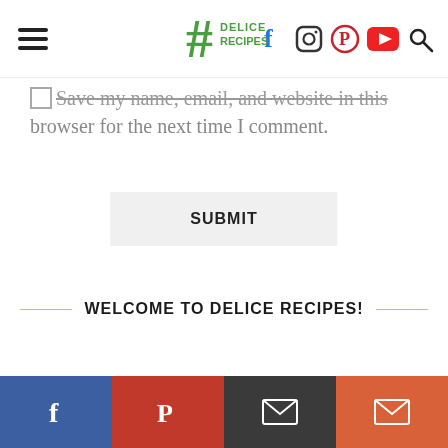Delice Recipes - navigation header with logo and social icons
Save my name, email, and website in this browser for the next time I comment.
SUBMIT
WELCOME TO DELICE RECIPES!
[Figure (other): Bottom social sharing bar with Facebook, Pinterest, email (dark), and email/share (orange) icons]